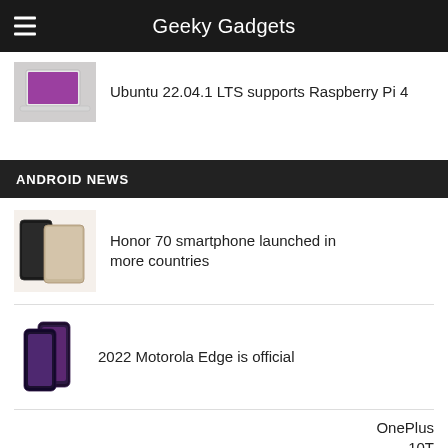Geeky Gadgets
Ubuntu 22.04.1 LTS supports Raspberry Pi 4
ANDROID NEWS
Honor 70 smartphone launched in more countries
2022 Motorola Edge is official
OnePlus 10T